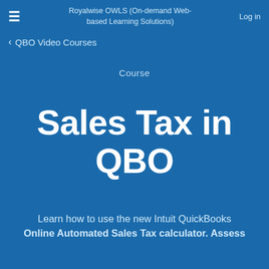≡   Royalwise OWLS (On-demand Web-based Learning Solutions)   Log in
< QBO Video Courses
Course
Sales Tax in QBO
Learn how to use the new Intuit QuickBooks Online Automated Sales Tax calculator. Assess